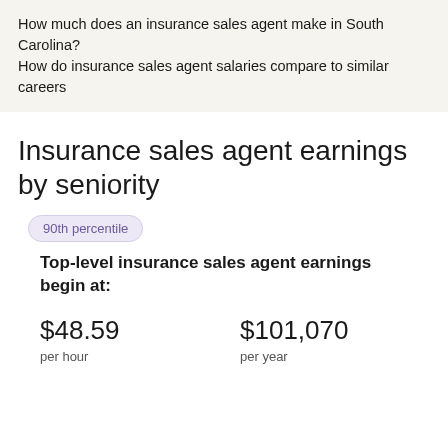How much does an insurance sales agent make in South Carolina?
How do insurance sales agent salaries compare to similar careers
Insurance sales agent earnings by seniority
90th percentile
Top-level insurance sales agent earnings begin at:
$48.59
per hour
$101,070
per year